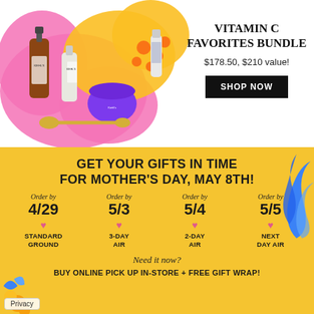[Figure (photo): Kiehl's Vitamin C skincare product bundle on a pink and yellow floral blob background, including serums, moisturizer, eye cream, and a facial roller]
VITAMIN C FAVORITES BUNDLE
$178.50, $210 value!
SHOP NOW
GET YOUR GIFTS IN TIME FOR MOTHER'S DAY, MAY 8TH!
Order by 4/29 STANDARD GROUND
Order by 5/3 3-DAY AIR
Order by 5/4 2-DAY AIR
Order by 5/5 NEXT DAY AIR
Need it now?
BUY ONLINE PICK UP IN-STORE + FREE GIFT WRAP!